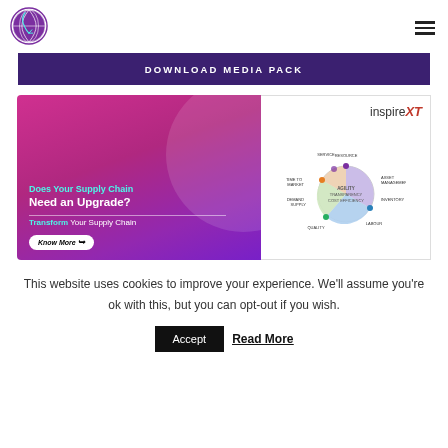[Figure (logo): Total Supply Chain Summit circular logo with globe and arrow motif]
[Figure (infographic): Hamburger menu icon (three horizontal lines) in top right corner]
DOWNLOAD MEDIA PACK
[Figure (infographic): InspireXT advertisement banner: left pink/purple side with text 'Does Your Supply Chain Need an Upgrade? Transform Your Supply Chain' and Know More button; right side with inspireXT logo and supply chain wheel diagram]
This website uses cookies to improve your experience. We'll assume you're ok with this, but you can opt-out if you wish.
Accept  Read More